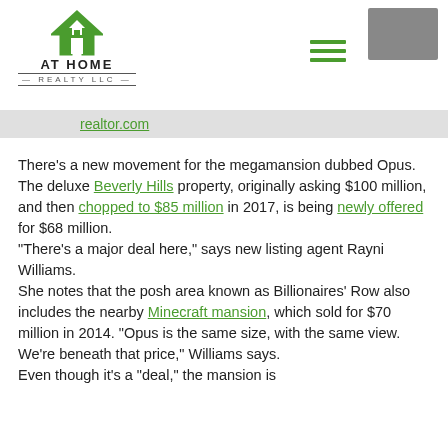AT HOME REALTY LLC
realtor.com
There’s a new movement for the megamansion dubbed Opus. The deluxe Beverly Hills property, originally asking $100 million, and then chopped to $85 million in 2017, is being newly offered for $68 million.
“There’s a major deal here,” says new listing agent Rayni Williams.
She notes that the posh area known as Billionaires’ Row also includes the nearby Minecraft mansion, which sold for $70 million in 2014. “Opus is the same size, with the same view. We’re beneath that price,” Williams says.
Even though it’s a “deal,” the mansion is